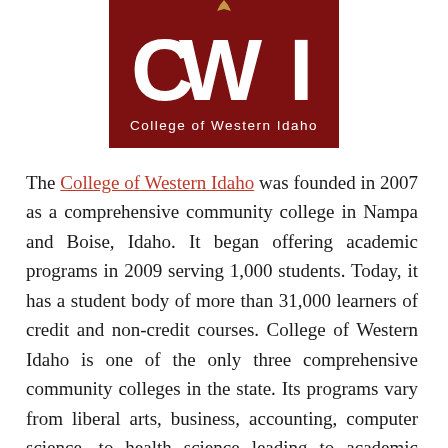[Figure (logo): College of Western Idaho (CWI) logo — dark red/maroon background with large white letters 'CWI' and text 'College of Western Idaho' beneath, with a small emblem at top]
The College of Western Idaho was founded in 2007 as a comprehensive community college in Nampa and Boise, Idaho. It began offering academic programs in 2009 serving 1,000 students. Today, it has a student body of more than 31,000 learners of credit and non-credit courses. College of Western Idaho is one of the only three comprehensive community colleges in the state. Its programs vary from liberal arts, business, accounting, computer science, to health science leading to academic certificates, necessary technical certificates, and associate degrees.